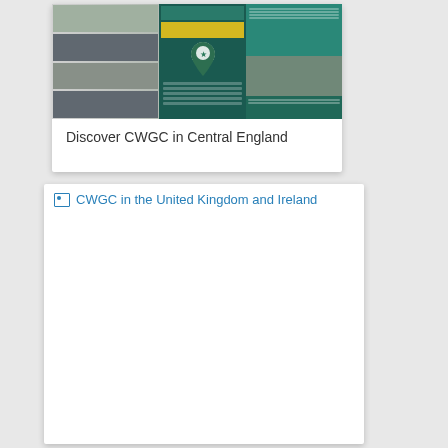[Figure (illustration): Card showing a CWGC brochure mockup with teal/green multi-column design featuring photos and a location pin icon]
Discover CWGC in Central England
[Figure (illustration): Card with a broken image placeholder labeled 'CWGC in the United Kingdom and Ireland' in blue hyperlink style text]